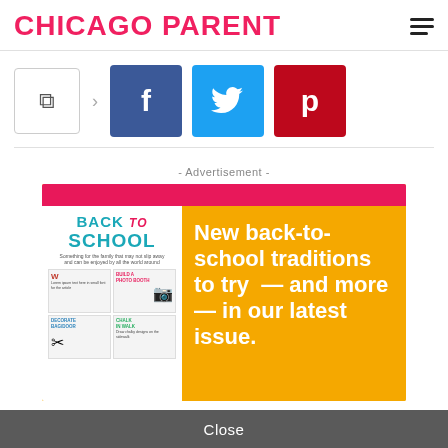CHICAGO PARENT
[Figure (screenshot): Share button and social media buttons: share icon, Facebook (f), Twitter (bird), Pinterest (p)]
- Advertisement -
[Figure (infographic): Advertisement for Chicago Parent magazine: pink top bar, yellow background, magazine cover showing 'BACK TO SCHOOL' and text 'New back-to-school traditions to try — and more — in our latest issue.']
Close